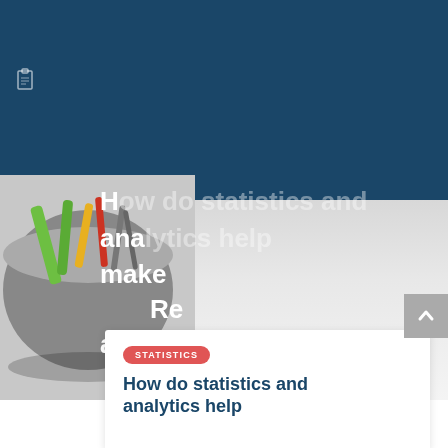[Figure (photo): Dark blue header background with a clipboard icon in the upper left]
[Figure (photo): Overhead photo of tools and pens/pencils in a metal bucket/container on a light gray surface]
How do statistics and analytics help make better decisions? Read on to find out how applications…
STATISTICS
How do statistics and analytics help